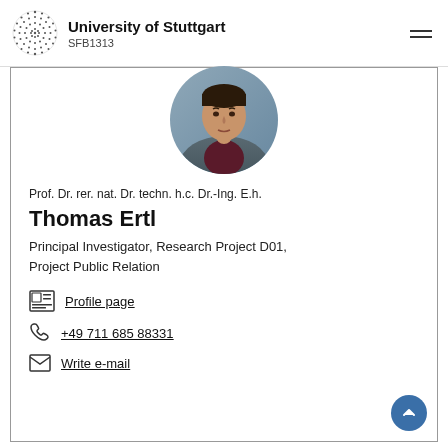University of Stuttgart SFB1313
[Figure (photo): Circular profile photo of Thomas Ertl, a middle-aged man in a dark jacket]
Prof. Dr. rer. nat. Dr. techn. h.c. Dr.-Ing. E.h.
Thomas Ertl
Principal Investigator, Research Project D01, Project Public Relation
Profile page
+49 711 685 88331
Write e-mail